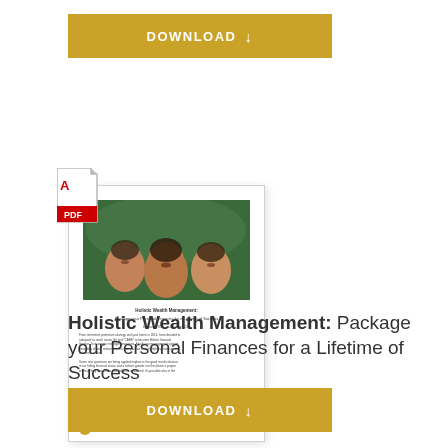[Figure (other): Gold 'DOWNLOAD' button with down arrow at top of page]
[Figure (other): PDF thumbnail preview of 'Holistic Wealth Management: Package your Personal Finances for a Lifetime of Success' document, showing a family photo and text content with a PDF badge icon]
Holistic Wealth Management: Package your Personal Finances for a Lifetime of Success
[Figure (other): Gold 'DOWNLOAD' button with down arrow at bottom of page]